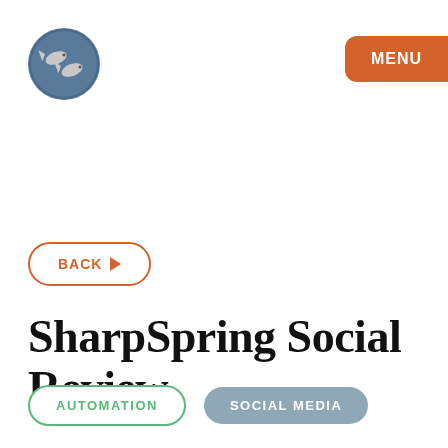[Figure (logo): Circular logo with blue-grey background featuring two stylized fish in silver/white, representing the website brand.]
MENU
BACK ▶
SharpSpring Social Review
AUTOMATION
SOCIAL MEDIA